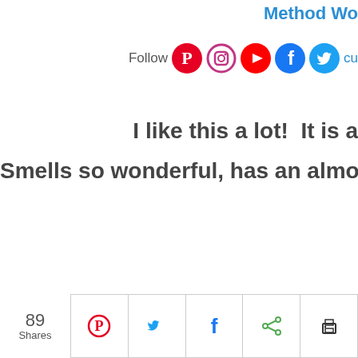Method Wo
Follow  cu
I like this a lot!  It is a
Smells so wonderful, has an almond
89 Shares
[Figure (infographic): Social share bar with 89 shares, Pinterest, Twitter, Facebook, share, and print buttons]